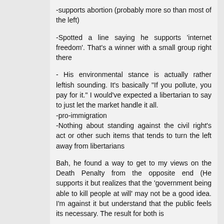-supports abortion (probably more so than most of the left)
-Spotted a line saying he supports 'internet freedom'. That's a winner with a small group right there
- His environmental stance is actually rather leftish sounding. It's basically "If you pollute, you pay for it." I would've expected a libertarian to say to just let the market handle it all.
-pro-immigration
-Nothing about standing against the civil right's act or other such items that tends to turn the left away from libertarians
Bah, he found a way to get to my views on the Death Penalty from the opposite end (He supports it but realizes that the 'government being able to kill people at will' may not be a good idea. I'm against it but understand that the public feels its necessary. The result for both is